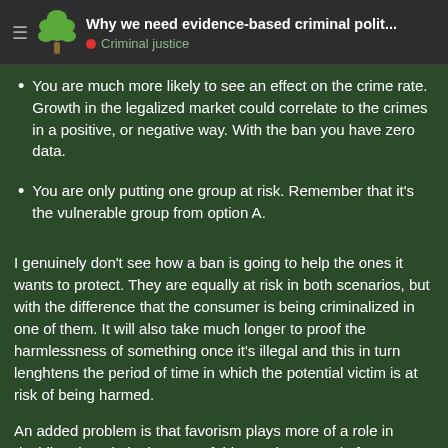Why we need evidence-based criminal polit... | Criminal justice
You are much more likely to see an effect on the crime rate. Growth in the legalized market could correlate to the crimes in a positive, or negative way. With the ban you have zero data.
You are only putting one group at risk. Remember that it's the vulnerable group from option A.
I genuinely don't see how a ban is going to help the ones it wants to protect. They are equally at risk in both scenarios, but with the difference that the consumer is being criminalized in one of them. It will also take much longer to proof the harmlessness of something once it's illegal and this in turn lenghtens the period of time in which the potential victim is at risk of being harmed.
An added problem is that favorism plays more of a role in deciding the criminal nature of things. The expert/reform commission that was formed last year with the laws regarding CSAM in Germany for a
1 / 1